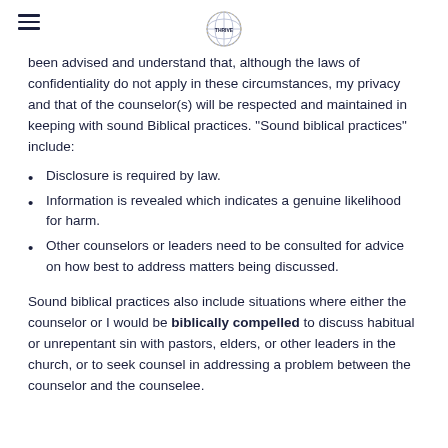[logo]
been advised and understand that, although the laws of confidentiality do not apply in these circumstances, my privacy and that of the counselor(s) will be respected and maintained in keeping with sound Biblical practices. "Sound biblical practices" include:
Disclosure is required by law.
Information is revealed which indicates a genuine likelihood for harm.
Other counselors or leaders need to be consulted for advice on how best to address matters being discussed.
Sound biblical practices also include situations where either the counselor or I would be biblically compelled to discuss habitual or unrepentant sin with pastors, elders, or other leaders in the church, or to seek counsel in addressing a problem between the counselor and the counselee.